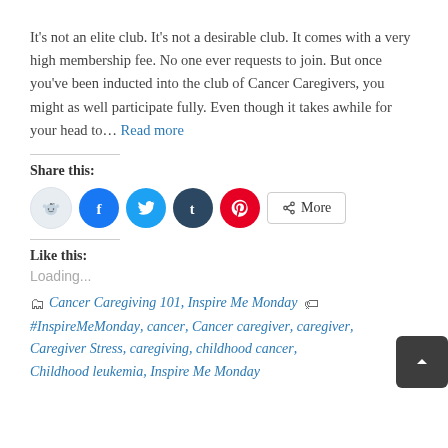It's not an elite club. It's not a desirable club. It comes with a very high membership fee. No one ever requests to join. But once you've been inducted into the club of Cancer Caregivers, you might as well participate fully. Even though it takes awhile for your head to… Read more
Share this:
[Figure (infographic): Row of social share buttons: Reddit (light blue circle), Facebook (blue circle), Twitter (cyan circle), Tumblr (dark navy circle), Pinterest (red circle), and a More button with share icon]
Like this:
Loading...
Cancer Caregiving 101, Inspire Me Monday #InspireMeMonday, cancer, Cancer caregiver, caregiver, Caregiver Stress, caregiving, childhood cancer, Childhood leukemia, Inspire Me Monday